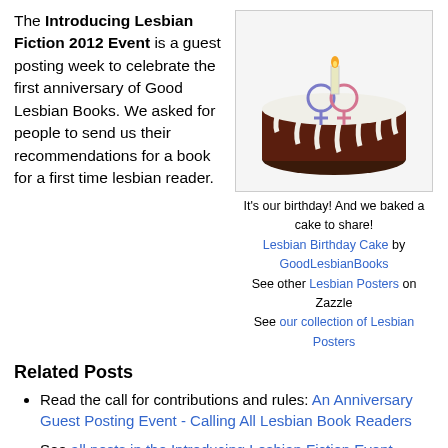The Introducing Lesbian Fiction 2012 Event is a guest posting week to celebrate the first anniversary of Good Lesbian Books. We asked for people to send us their recommendations for a book for a first time lesbian reader.
[Figure (illustration): A birthday cake with white icing, dark chocolate sides, a lit candle, and two interlocked female symbols on top in blue/pink.]
It's our birthday! And we baked a cake to share!
Lesbian Birthday Cake by GoodLesbianBooks
See other Lesbian Posters on Zazzle
See our collection of Lesbian Posters
Related Posts
Read the call for contributions and rules: An Anniversary Guest Posting Event - Calling All Lesbian Book Readers
See all posts in the Introducing Lesbian Fiction Event